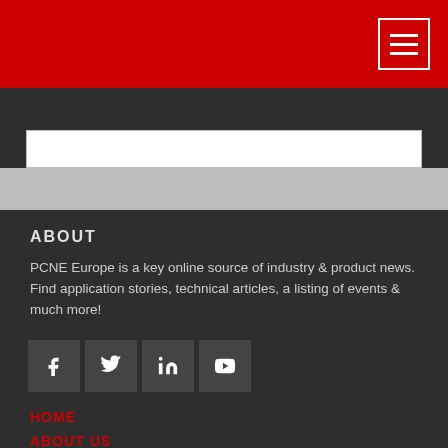[Figure (screenshot): Red navigation bar at top with hamburger menu button (white bordered) on right]
[Figure (screenshot): Dark gray navigation bar with hamburger menu button (gray filled) on right, and a white search/input box below]
ABOUT
PCNE Europe is a key online source of industry & product news. Find application stories, technical articles, a listing of events & much more!
[Figure (infographic): Row of four social media icon buttons: Facebook, Twitter, LinkedIn, YouTube]
HOME
ABOUT US